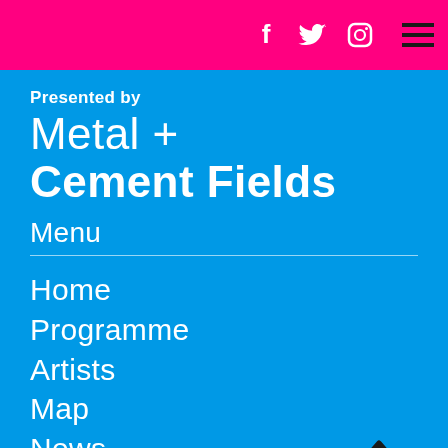Social icons (Facebook, Twitter, Instagram) and hamburger menu
Presented by
Metal + Cement Fields
Menu
Home
Programme
Artists
Map
News
Get Involved